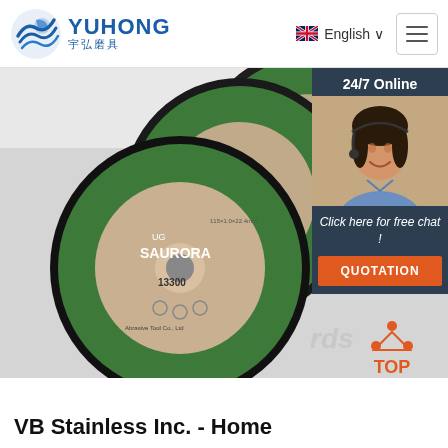[Figure (logo): YUHONG logo with blue wave icon and Chinese characters 宇弘磨具]
[Figure (photo): Product photo of SAURORA branded green abrasive cutting discs stacked on white background]
[Figure (photo): 24/7 Online chat widget with photo of female customer service representative wearing headset, with 'Click here for free chat!' text and orange QUOTATION button]
[Figure (other): Orange TOP navigation button with dot-triangle icon above text]
VB Stainless Inc. - Home